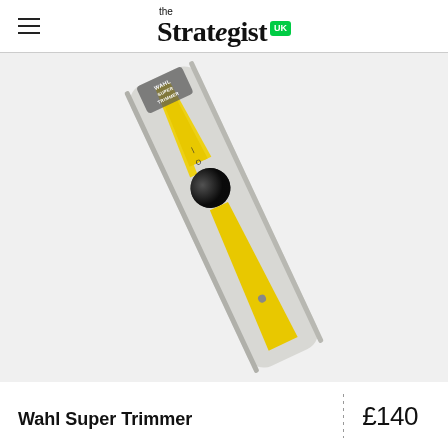the Strategist UK
[Figure (photo): Close-up photo of a Wahl Super Trimmer hair clipper, shown at a diagonal angle. The trimmer has a light grey/white body with a yellow stripe down the center and a large round black power switch. The brand label reads WAHL SUPER TRIMMER at the top.]
Wahl Super Trimmer
£140